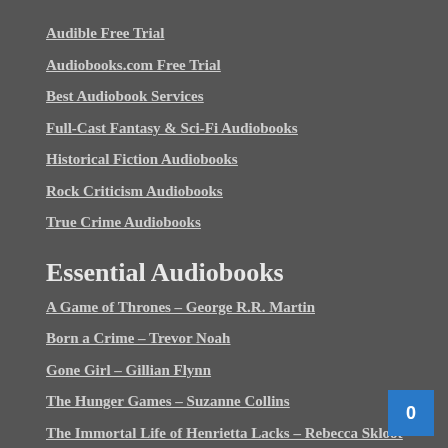Audible Free Trial
Audiobooks.com Free Trial
Best Audiobook Services
Full-Cast Fantasy & Sci-Fi Audiobooks
Historical Fiction Audiobooks
Rock Criticism Audiobooks
True Crime Audiobooks
Essential Audiobooks
A Game of Thrones – George R.R. Martin
Born a Crime – Trevor Noah
Gone Girl – Gillian Flynn
The Hunger Games – Suzanne Collins
The Immortal Life of Henrietta Lacks – Rebecca Skloot
Unbroken – Laura Hillenbrand